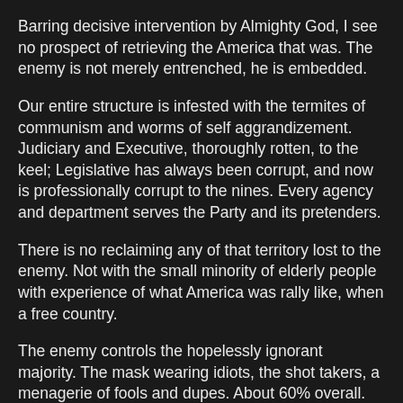Barring decisive intervention by Almighty God, I see no prospect of retrieving the America that was.  The enemy is not merely entrenched, he is embedded.
Our entire structure is infested with the termites of communism and worms of self aggrandizement.  Judiciary and Executive, thoroughly rotten, to the keel; Legislative has always been corrupt, and now is professionally corrupt to the nines.  Every agency and department serves the Party and its pretenders.
There is no reclaiming any of that territory lost to the enemy.  Not with the small minority of elderly people with experience of what America was rally like, when a free country.
The enemy controls the hopelessly ignorant majority.  The mask wearing idiots, the shot takers, a menagerie of fools and dupes.  About 60% overall. The enemy has gotten away with both the greatest fraud in history, and the greatest electoral theft in American history.  They fully intend to replace
us with a more docile, undemanding population